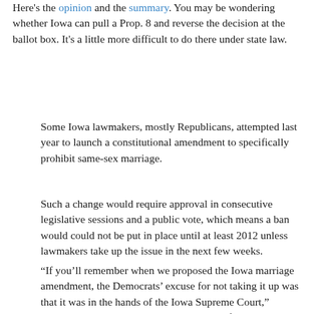Here's the opinion and the summary. You may be wondering whether Iowa can pull a Prop. 8 and reverse the decision at the ballot box. It's a little more difficult to do there under state law.
Some Iowa lawmakers, mostly Republicans, attempted last year to launch a constitutional amendment to specifically prohibit same-sex marriage.
Such a change would require approval in consecutive legislative sessions and a public vote, which means a ban would could not be put in place until at least 2012 unless lawmakers take up the issue in the next few weeks.
“If you’ll remember when we proposed the Iowa marriage amendment, the Democrats’ excuse for not taking it up was that it was in the hands of the Iowa Supreme Court,” Senate Republican leader Paul McKinley of Chariton said Friday. “It was implied that should they find against traditional